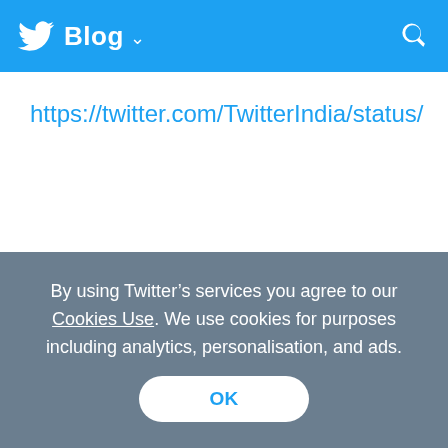Twitter Blog
https://twitter.com/TwitterIndia/status/
With the help of Twitter Seva, the Ministry is able to easily monitor user queries and complaints and take quick action in a time bound, accountable manner. The dashboard provides resolvable,
By using Twitter’s services you agree to our Cookies Use. We use cookies for purposes including analytics, personalisation, and ads.